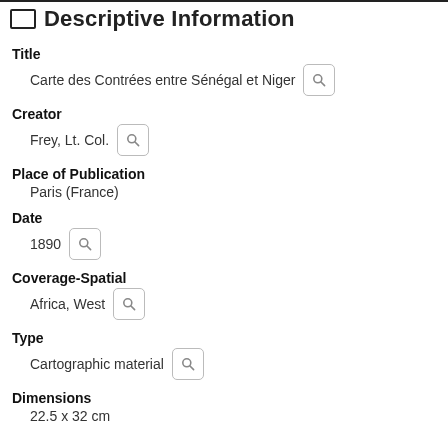Descriptive Information
Title
Carte des Contrées entre Sénégal et Niger
Creator
Frey, Lt. Col.
Place of Publication
Paris (France)
Date
1890
Coverage-Spatial
Africa, West
Type
Cartographic material
Dimensions
22.5 x 32 cm